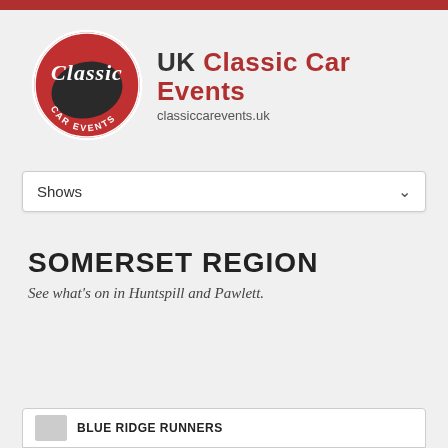[Figure (logo): Classic Car Events circular red and dark logo with 'Classic' script lettering and 'CAR EVENTS' text around the circle]
UK Classic Car Events
classiccarevents.uk
Shows
SOMERSET REGION
See what's on in Huntspill and Pawlett.
BLUE RIDGE RUNNERS